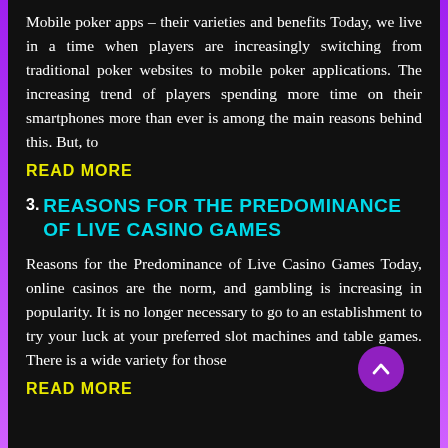Mobile poker apps – their varieties and benefits Today, we live in a time when players are increasingly switching from traditional poker websites to mobile poker applications. The increasing trend of players spending more time on their smartphones more than ever is among the main reasons behind this. But, to
READ MORE
3. REASONS FOR THE PREDOMINANCE OF LIVE CASINO GAMES
Reasons for the Predominance of Live Casino Games Today, online casinos are the norm, and gambling is increasing in popularity. It is no longer necessary to go to an establishment to try your luck at your preferred slot machines and table games. There is a wide variety for those
READ MORE